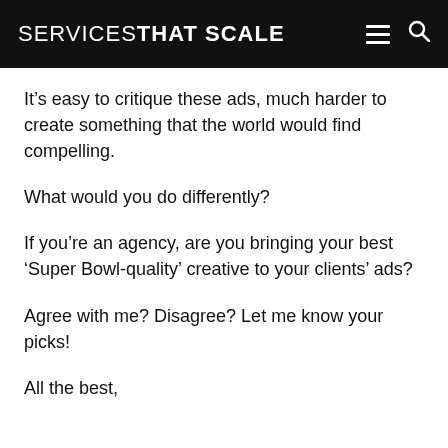SERVICES THAT SCALE
It’s easy to critique these ads, much harder to create something that the world would find compelling.
What would you do differently?
If you’re an agency, are you bringing your best ‘Super Bowl-quality’ creative to your clients’ ads?
Agree with me? Disagree? Let me know your picks!
All the best,